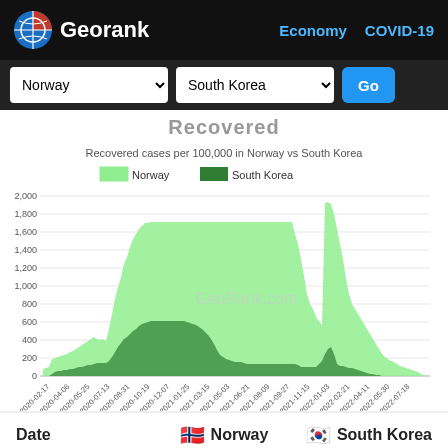Georank — Economy  COVID-19
Norway    South Korea    Go
Recovered
[Figure (bar-chart): Grouped bar chart showing recovered COVID-19 cases per 100,000 population for Norway (light green) and South Korea (dark green) over time from 2020-02-17 to 2022-07-18. Norway peaks near 1,900 around 2022-04-11. South Korea shown in dark green, growing to about 1,700 by end.]
Date    Norway    South Korea